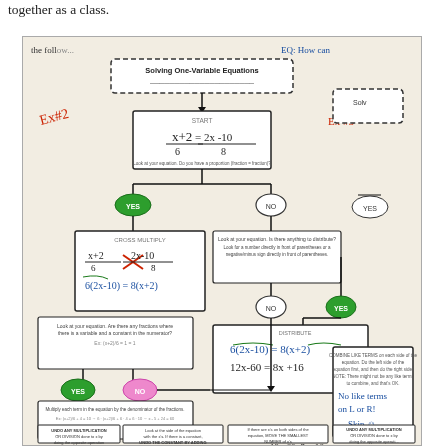together as a class.
[Figure (flowchart): Flowchart titled 'Solving One-Variable Equations' showing steps to solve x+2/6 = 2x-10/8. Includes START box with equation, YES/NO decision diamonds, CROSS MULTIPLY step, DISTRIBUTE step showing 6(2x-10)=8(x+2), 12x-60=8x+16, COMBINE LIKE TERMS box, and bottom row of action boxes. Handwritten annotations show Ex#2 in red, worked steps in blue and black.]